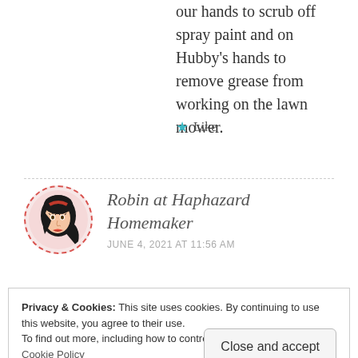our hands to scrub off spray paint and on Hubby's hands to remove grease from working on the lawn mower.
★ Like
Robin at Haphazard Homemaker
JUNE 4, 2021 AT 11:56 AM
Privacy & Cookies: This site uses cookies. By continuing to use this website, you agree to their use.
To find out more, including how to control cookies, see here:
Cookie Policy
Close and accept
…always a little extra boost in cleaning…